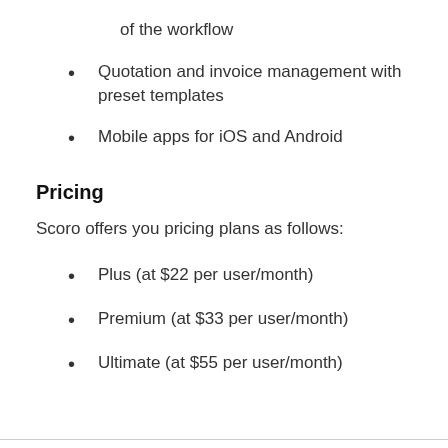of the workflow
Quotation and invoice management with preset templates
Mobile apps for iOS and Android
Pricing
Scoro offers you pricing plans as follows:
Plus (at $22 per user/month)
Premium (at $33 per user/month)
Ultimate (at $55 per user/month)